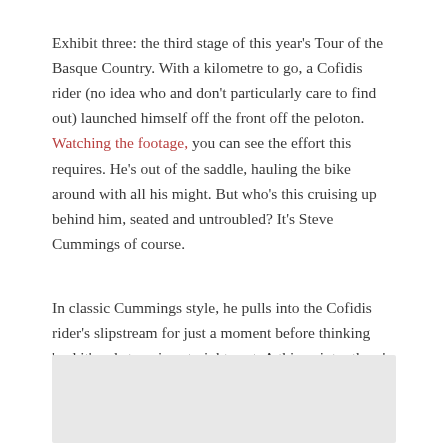Exhibit three: the third stage of this year's Tour of the Basque Country. With a kilometre to go, a Cofidis rider (no idea who and don't particularly care to find out) launched himself off the front off the peloton. Watching the footage, you can see the effort this requires. He's out of the saddle, hauling the bike around with all his might. But who's this cruising up behind him, seated and untroubled? It's Steve Cummings of course.
In classic Cummings style, he pulls into the Cofidis rider's slipstream for just a moment before thinking 'sod it' and steaming straight past. A this point – there's no other way to put this – he just rides away from everyone.
[Figure (photo): Gray placeholder image rectangle at the bottom of the page]